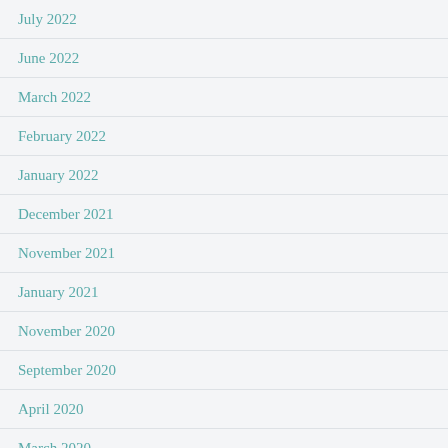July 2022
June 2022
March 2022
February 2022
January 2022
December 2021
November 2021
January 2021
November 2020
September 2020
April 2020
March 2020